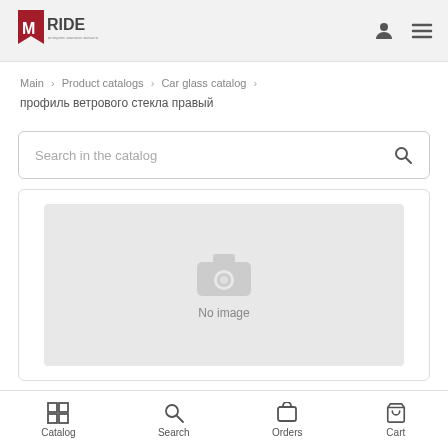[Figure (logo): MRIDE logo with red bookmark icon and text MRIDE]
Main › Product catalogs › Car glass catalog › профиль ветрового стекла правый
Search in the catalog
[Figure (photo): No image placeholder with camera icon and text 'No image']
Catalog  Search  Orders  Cart